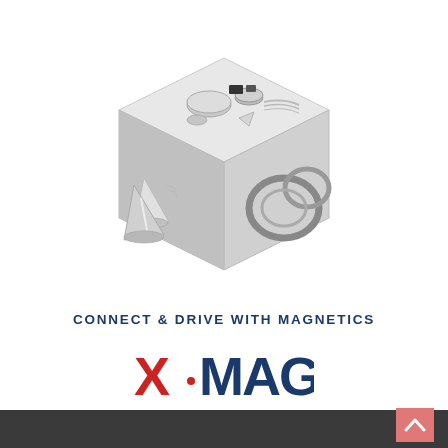[Figure (photo): A metallic cube with various magnet shapes and components displayed on its faces — including conical magnets, ring magnets, disc magnets, and other magnetic hardware parts.]
CONNECT & DRIVE WITH MAGNETICS
[Figure (logo): X-MAG logo: stylized text with an X in red and MAG in dark navy blue with geometric angular styling.]